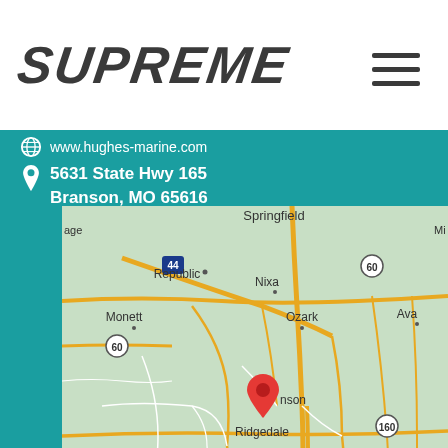SUPREME
www.hughes-marine.com
5631 State Hwy 165
Branson, MO 65616
[Figure (map): Google Maps screenshot showing Branson, Missouri area with surrounding cities including Republic, Nixa, Ozark, Ava, Monett, Ridgedale, Eureka Springs, Bull Shoals, Flippin, Harrison, Yellville, Huntsville, Rogers, Springdale, and Fayetteville. A red map pin marker is placed on Branson/Ridgedale area. Missouri-Arkansas state border shown as dashed line. Routes 44, 60, 160, 412, 65 labeled.]